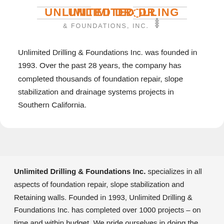[Figure (logo): Unlimited Drilling & Foundations, Inc. logo with orange text and drill bit graphic]
Unlimited Drilling & Foundations Inc. was founded in 1993. Over the past 28 years, the company has completed thousands of foundation repair, slope stabilization and drainage systems projects in Southern California.
Unlimited Drilling & Foundations Inc. specializes in all aspects of foundation repair, slope stabilization and Retaining walls. Founded in 1993, Unlimited Drilling & Foundations Inc. has completed over 1000 projects – on time and within budget. We pride ourselves in doing the job right the first time for a very competitive price. Your project will be done in house, meaning when you hire us we will do the work not hire a dozen subcontractors. You will see me on your job constantly, I don't get